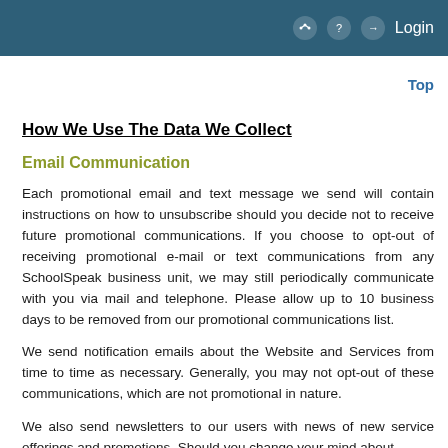Login
Top
How We Use The Data We Collect
Email Communication
Each promotional email and text message we send will contain instructions on how to unsubscribe should you decide not to receive future promotional communications. If you choose to opt-out of receiving promotional e-mail or text communications from any SchoolSpeak business unit, we may still periodically communicate with you via mail and telephone. Please allow up to 10 business days to be removed from our promotional communications list.
We send notification emails about the Website and Services from time to time as necessary. Generally, you may not opt-out of these communications, which are not promotional in nature.
We also send newsletters to our users with news of new service offerings and promotions. Should you change your mind about